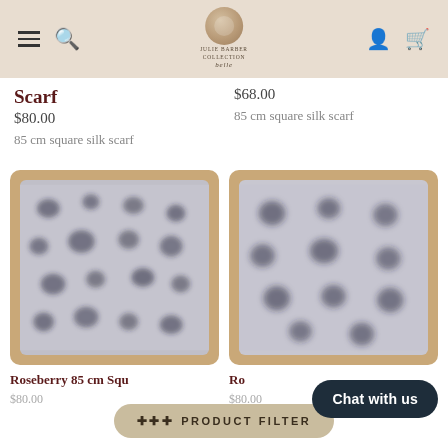Navigation bar with hamburger menu, search, logo, account and cart icons
Scarf
$80.00
85 cm square silk scarf
$68.00
85 cm square silk scarf
[Figure (photo): Roseberry 85 cm square silk scarf product photo on wooden tray, white background with dark irregular dot pattern]
Roseberry 85 cm Square Scarf
$80.00
[Figure (photo): Roseberry silk scarf product photo on wooden tray, white background with dark dot pattern, larger dots]
Ro... (Roseberry)
$80.00